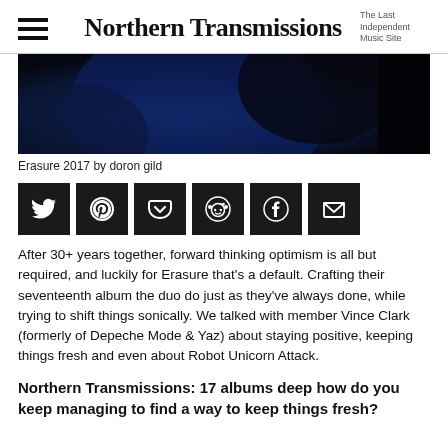Northern Transmissions — The Last Independent Music Site
[Figure (photo): Dark blue close-up photo of what appears to be a vinyl record or speaker, mostly dark blue and black tones]
Erasure 2017 by doron gild
[Figure (infographic): Social sharing icon bar with Twitter, Pinterest, Pocket, Reddit, Facebook, and Email icons on dark background squares]
After 30+ years together, forward thinking optimism is all but required, and luckily for Erasure that's a default. Crafting their seventeenth album the duo do just as they've always done, while trying to shift things sonically. We talked with member Vince Clark (formerly of Depeche Mode & Yaz) about staying positive, keeping things fresh and even about Robot Unicorn Attack.
Northern Transmissions: 17 albums deep how do you keep managing to find a way to keep things fresh?